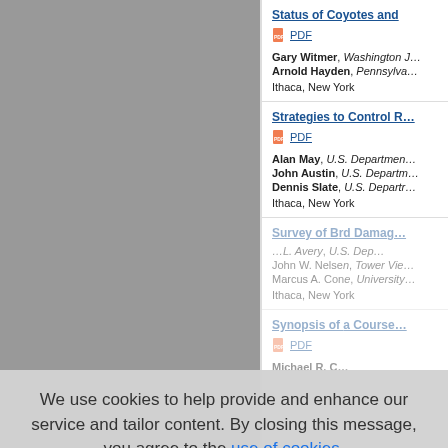[Figure (other): Gray image panel on the left side of the page]
Status of Coyotes and...
PDF
Gary Witmer, Washington... Arnold Hayden, Pennsylva... Ithaca, New York
Strategies to Control R...
PDF
Alan May, U.S. Department... John Austin, U.S. Departm... Dennis Slate, U.S. Departm... Ithaca, New York
Survey of Bird Damage...
...L. Avery, U.S. Dep... John W. Nelse n, Tower Vie... Marcus A. Con e, University... Ithaca, New York k
Synopsis of a Course...
PDF
Michael R. C... Ithaca...
We use cookies to help provide and enhance our service and tailor content. By closing this message, you agree to the use of cookies.
Close